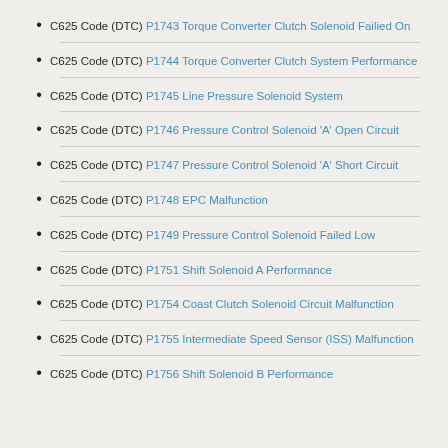C625 Code (DTC) P1743 Torque Converter Clutch Solenoid Failied On
C625 Code (DTC) P1744 Torque Converter Clutch System Performance
C625 Code (DTC) P1745 Line Pressure Solenoid System
C625 Code (DTC) P1746 Pressure Control Solenoid 'A' Open Circuit
C625 Code (DTC) P1747 Pressure Control Solenoid 'A' Short Circuit
C625 Code (DTC) P1748 EPC Malfunction
C625 Code (DTC) P1749 Pressure Control Solenoid Failed Low
C625 Code (DTC) P1751 Shift Solenoid A Performance
C625 Code (DTC) P1754 Coast Clutch Solenoid Circuit Malfunction
C625 Code (DTC) P1755 Intermediate Speed Sensor (ISS) Malfunction
C625 Code (DTC) P1756 Shift Solenoid B Performance